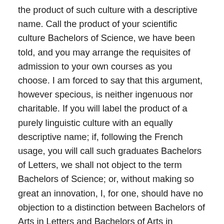the product of such culture with a descriptive name. Call the product of your scientific culture Bachelors of Science, we have been told, and you may arrange the requisites of admission to your own courses as you choose. I am forced to say that this argument, however specious, is neither ingenuous nor charitable. If you will label the product of a purely linguistic culture with an equally descriptive name; if, following the French usage, you will call such graduates Bachelors of Letters, we shall not object to the term Bachelors of Science; or, without making so great an innovation, I, for one, should have no objection to a distinction between Bachelors of Arts in Letters and Bachelors of Arts in Science. But it is perfectly well understood that in this community the degree of Bachelor of Arts is for most men the one essential condition of admission to the noble fraternity of scholars, to what has been called the "Guild of the Learned." To